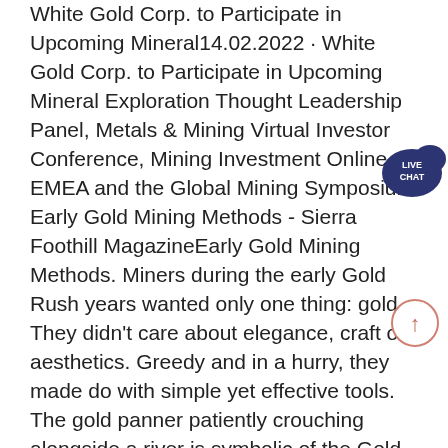White Gold Corp. to Participate in Upcoming Mineral14.02.2022 · White Gold Corp. to Participate in Upcoming Mineral Exploration Thought Leadership Panel, Metals & Mining Virtual Investor Conference, Mining Investment Online EMEA and the Global Mining Symposium Early Gold Mining Methods - Sierra Foothill MagazineEarly Gold Mining Methods. Miners during the early Gold Rush years wanted only one thing: gold. They didn't care about elegance, craft or aesthetics. Greedy and in a hurry, they made do with simple yet effective tools. The gold panner patiently crouching alongside a river is symbolic of the Gold Rush, and yet gold pans were probably the most gold ore mining equ pment beneficiation grinding-mining gold ore mining equ pment beneficiation grinding-mining equiments supplier. As we all know, Gold Ore Mining and Processing include crushing process, grinding process, beneficiation process and refining process. It is a complex processing, to the crushing plant, Top Best Gold Mining Stocks to Buy in